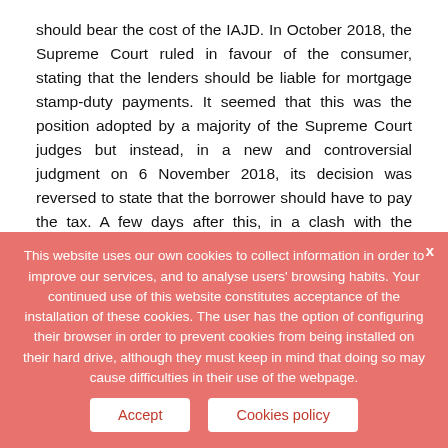should bear the cost of the IAJD. In October 2018, the Supreme Court ruled in favour of the consumer, stating that the lenders should be liable for mortgage stamp-duty payments. It seemed that this was the position adopted by a majority of the Supreme Court judges but instead, in a new and controversial judgment on 6 November 2018, its decision was reversed to state that the borrower should have to pay the tax. A few days after this, in a clash with the Supreme Court, the government announced that it would override the decision so that banks will have to foot the bill for future stamp-duty payments on property purchases.
When this...
This website uses our own cookies to collect information in order to improve our services, and to analyse users' browsing habits. Your continued use of this website constitutes acceptance of the installation of these cookies. The user has the option of configuring their browser in order to prevent cookies from being installed on their hard drive, although they must keep in mind that doing so may cause difficulties in their use of the webpage.